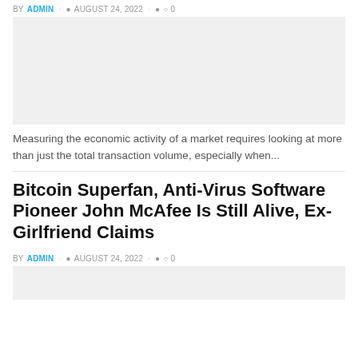BY ADMIN  AUGUST 24, 2022  0
[Figure (photo): Large image placeholder (light gray rectangle)]
Measuring the economic activity of a market requires looking at more than just the total transaction volume, especially when...
Bitcoin Superfan, Anti-Virus Software Pioneer John McAfee Is Still Alive, Ex-Girlfriend Claims
BY ADMIN  AUGUST 24, 2022  0
[Figure (photo): Small image placeholder at bottom (light gray rectangle)]